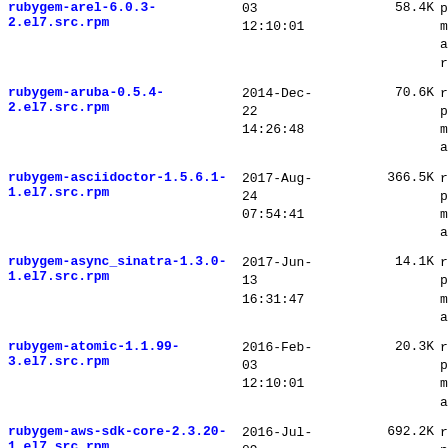rubygem-arel-6.0.3-2.el7.src.rpm | 03 12:10:01 | 58.4K | package manager applic redhat
rubygem-aruba-0.5.4-2.el7.src.rpm | 2014-Dec-22 14:26:48 | 70.6K | package manager applic redhat
rubygem-asciidoctor-1.5.6.1-1.el7.src.rpm | 2017-Aug-24 07:54:41 | 366.5K | package manager applic redhat
rubygem-async_sinatra-1.3.0-1.el7.src.rpm | 2017-Jun-13 16:31:47 | 14.1K | package manager applic redhat
rubygem-atomic-1.1.99-3.el7.src.rpm | 2016-Feb-03 12:10:01 | 20.3K | package manager applic redhat
rubygem-aws-sdk-core-2.3.20-1.el7.src.rpm | 2016-Jul-09 14:08:01 | 692.2K | package manager applic redhat
rubygem-aws-sdk-resources-2.3.20-1.el7.src.rpm | 2016-Jul-09 14:08:00 | 94.9K | package manager applic redhat
rubygem-aws-sigv4-1.0.2-1.el7.src.rpm | 2017-Sep-14 17:42:01 | 32.1K | package manager applic redhat
rubygem-bcrypt-... | 2016-Jan-06 | 91.9K | redhat